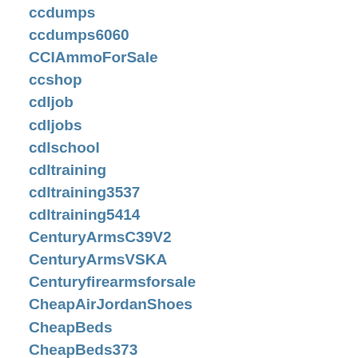ccdumps
ccdumps6060
CCIAmmoForSale
ccshop
cdljob
cdljobs
cdlschool
cdltraining
cdltraining3537
cdltraining5414
CenturyArmsC39V2
CenturyArmsVSKA
Centuryfirearmsforsale
CheapAirJordanShoes
CheapBeds
CheapBeds373
CheapJordan11
CheapYeezy
ChiappaRhino60ds